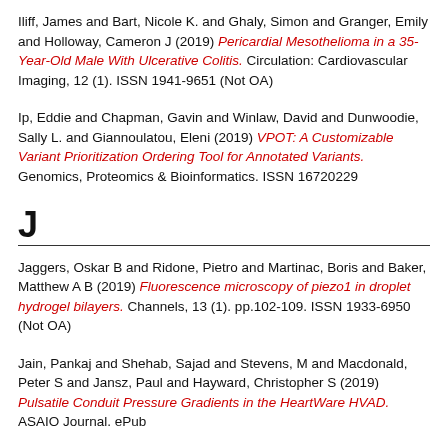Iliff, James and Bart, Nicole K. and Ghaly, Simon and Granger, Emily and Holloway, Cameron J (2019) Pericardial Mesothelioma in a 35-Year-Old Male With Ulcerative Colitis. Circulation: Cardiovascular Imaging, 12 (1). ISSN 1941-9651 (Not OA)
Ip, Eddie and Chapman, Gavin and Winlaw, David and Dunwoodie, Sally L. and Giannoulatou, Eleni (2019) VPOT: A Customizable Variant Prioritization Ordering Tool for Annotated Variants. Genomics, Proteomics & Bioinformatics. ISSN 16720229
J
Jaggers, Oskar B and Ridone, Pietro and Martinac, Boris and Baker, Matthew A B (2019) Fluorescence microscopy of piezo1 in droplet hydrogel bilayers. Channels, 13 (1). pp.102-109. ISSN 1933-6950 (Not OA)
Jain, Pankaj and Shehab, Sajad and Stevens, M and Macdonald, Peter S and Jansz, Paul and Hayward, Christopher S (2019) Pulsatile Conduit Pressure Gradients in the HeartWare HVAD. ASAIO Journal. ePub